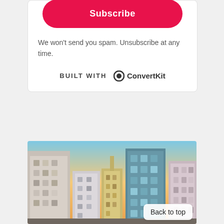Subscribe
We won't send you spam. Unsubscribe at any time.
BUILT WITH ConvertKit
[Figure (photo): City skyline with tall buildings at dusk/sunset, urban street view looking up between skyscrapers with warm sky tones]
Back to top